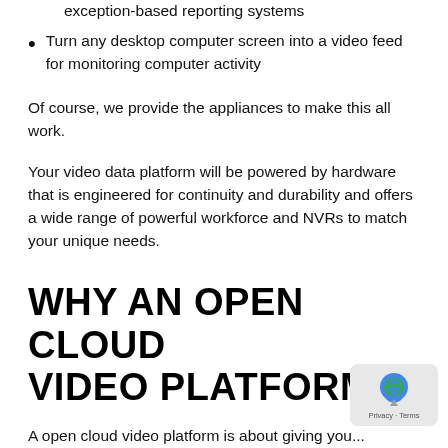exception-based reporting systems
Turn any desktop computer screen into a video feed for monitoring computer activity
Of course, we provide the appliances to make this all work.
Your video data platform will be powered by hardware that is engineered for continuity and durability and offers a wide range of powerful workforce and NVRs to match your unique needs.
WHY AN OPEN CLOUD VIDEO PLATFORM?
A open cloud video platform is about giving you...